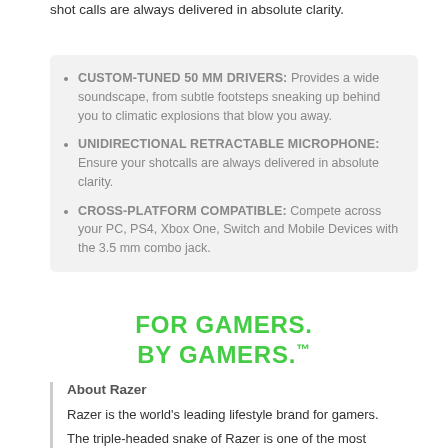shot calls are always delivered in absolute clarity.
CUSTOM-TUNED 50 MM DRIVERS: Provides a wide soundscape, from subtle footsteps sneaking up behind you to climatic explosions that blow you away.
UNIDIRECTIONAL RETRACTABLE MICROPHONE: Ensure your shotcalls are always delivered in absolute clarity.
CROSS-PLATFORM COMPATIBLE: Compete across your PC, PS4, Xbox One, Switch and Mobile Devices with the 3.5 mm combo jack.
FOR GAMERS. BY GAMERS.™
About Razer
Razer is the world's leading lifestyle brand for gamers.
The triple-headed snake of Razer is one of the most